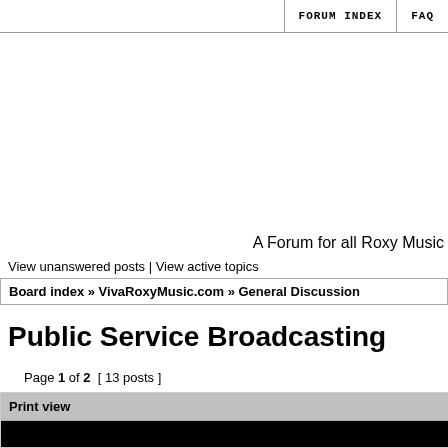FORUM INDEX | FAQ
A Forum for all Roxy Music
View unanswered posts | View active topics
Board index » VivaRoxyMusic.com » General Discussion
Public Service Broadcasting
Page 1 of 2 [ 13 posts ]
Print view
| rendezvous | Post subject: Public Service Broadcasting |
| --- | --- |
| Joined: Tue Dec 07, 2010 2:21 pm
Posts: 367 | The topic title has nothing to do with tv, I ho
this wonderful band......I had heard a whispe |